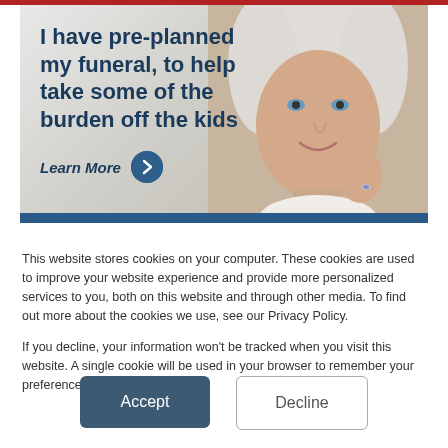[Figure (illustration): Advertisement banner showing an elderly woman smiling, with bold dark blue headline text reading 'I have pre-planned my funeral, to help take some of the burden off the kids' and a 'Learn More' call-to-action button with a right-arrow circle.]
This website stores cookies on your computer. These cookies are used to improve your website experience and provide more personalized services to you, both on this website and through other media. To find out more about the cookies we use, see our Privacy Policy.
If you decline, your information won’t be tracked when you visit this website. A single cookie will be used in your browser to remember your preference not to be tracked.